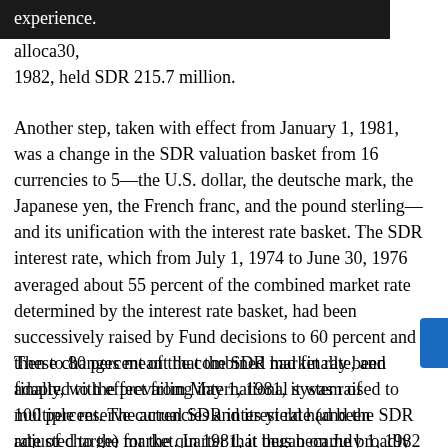experience.
alloca[ted ...] 30, 1982, held SDR 215.7 million.
Another step, taken with effect from January 1, 1981, was a change in the SDR valuation basket from 16 currencies to 5—the U.S. dollar, the deutsche mark, the Japanese yen, the French franc, and the pound sterling—and its unification with the interest rate basket. The SDR interest rate, which from July 1, 1974 to June 30, 1976 averaged about 55 percent of the combined market rate determined by the interest rate basket, had been successively raised by Fund decisions to 60 percent and then to 80 percent of the combined market rate, and finally, with effect from May 1, 1981, it was raised to 100 percent. The actual SDR interest rate (and the SDR rate of charge) for the quarter that began on July 1, 1982 was 12.01 percent.
These changes meant that the SDR had finally been adapted to the prevailing international system of multiple reserve currencies and its yield had been adjusted to the market. In 1981, it thus became broadly competitive with similar holdings of the five